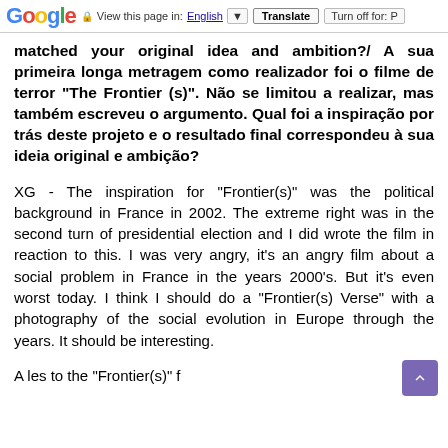Google  View this page in: English [dropdown]  Translate  Turn off for: P
matched your original idea and ambition?/ A sua primeira longa metragem como realizador foi o filme de terror “The Frontier (s)”. Não se limitou a realizar, mas também escreveu o argumento. Qual foi a inspiração por trás deste projeto e o resultado final correspondeu à sua ideia original e ambição?
XG - The inspiration for "Frontier(s)" was the political background in France in 2002. The extreme right was in the second turn of presidential election and I did wrote the film in reaction to this. I was very angry, it’s an angry film about a social problem in France in the years 2000’s. But it’s even worst today. I think I should do a "Frontier(s) Verse" with a photography of the social evolution in Europe through the years. It should be interesting.
A les to the “Frontier(s)” f...